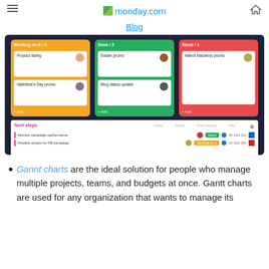monday.com
Blog
[Figure (screenshot): monday.com kanban board screenshot showing 'Working on it / 2', 'Done / 2', and 'Stuck / 1' columns with cards, and a list view below with 'Next steps' section showing campaign tasks with owner, status, time tracking, and files columns.]
Gannt charts are the ideal solution for people who manage multiple projects, teams, and budgets at once. Gantt charts are used for any organization that wants to manage its